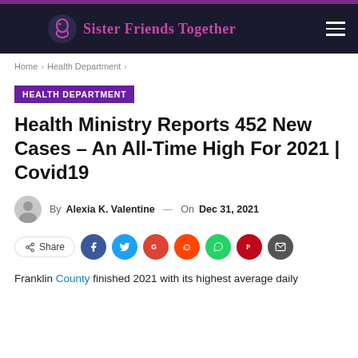Sister Friends Together
Home > Health Department >
HEALTH DEPARTMENT
Health Ministry Reports 452 New Cases – An All-Time High For 2021 | Covid19
By Alexia K. Valentine — On Dec 31, 2021
Share
Franklin County finished 2021 with its highest average daily